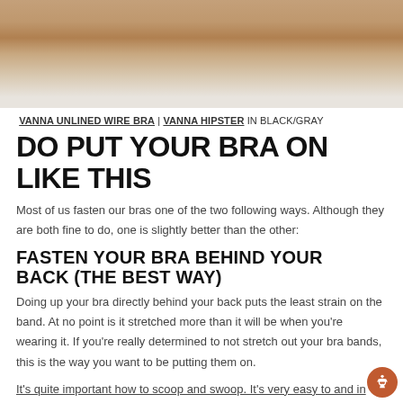[Figure (photo): Photo of a person's lower body wearing a bra and hipster underwear in black/gray, shown from the waist down against a light background.]
VANNA UNLINED WIRE BRA | VANNA HIPSTER IN BLACK/GRAY
DO PUT YOUR BRA ON LIKE THIS
Most of us fasten our bras one of the two following ways. Although they are both fine to do, one is slightly better than the other:
FASTEN YOUR BRA BEHIND YOUR BACK (THE BEST WAY)
Doing up your bra directly behind your back puts the least strain on the band. At no point is it stretched more than it will be when you're wearing it. If you're really determined to not stretch out your bra bands, this is the way you want to be putting them on.
It's quite important how to scoop and swoop. It's very easy to and in